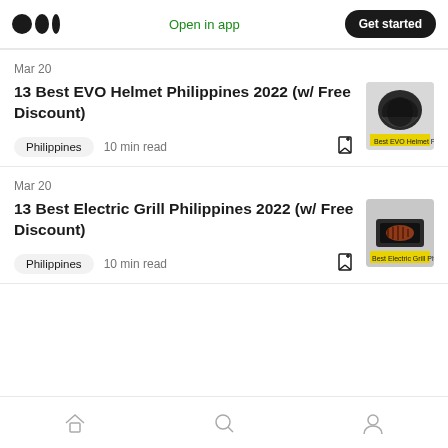Medium logo | Open in app | Get started
Mar 20
13 Best EVO Helmet Philippines 2022 (w/ Free Discount)
Philippines  10 min read
[Figure (photo): Thumbnail image of EVO helmet with yellow label 'Best EVO Helmet Philipp']
Mar 20
13 Best Electric Grill Philippines 2022 (w/ Free Discount)
Philippines  10 min read
[Figure (photo): Thumbnail image of electric grill with yellow label 'Best Electric Grill Philipp']
Home | Search | Profile